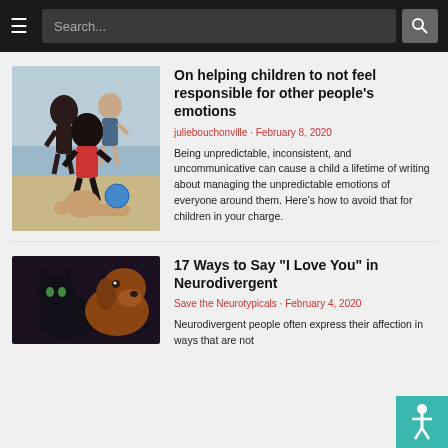Search...
On helping children to not feel responsible for other people's emotions
juliebouchonville · February 8, 2020
Being unpredictable, inconsistent, and uncommunicative can cause a child a lifetime of writing about managing the unpredictable emotions of everyone around them. Here's how to avoid that for children in your charge.
17 Ways to Say “I Love You” in Neurodivergent
Save the Neurotypicals · February 4, 2020
Neurodivergent people often express their affection in ways that are not...